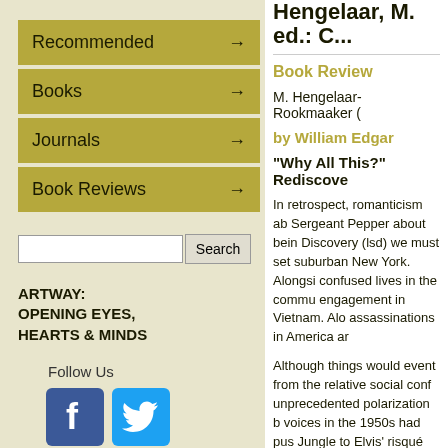Recommended →
Books →
Journals →
Book Reviews →
Search
ARTWAY:
OPENING EYES,
HEARTS & MINDS
Follow Us
[Figure (logo): Facebook icon (blue square with white F)]
[Figure (logo): Twitter icon (blue square with white bird)]
New on the website:
→ Carel Willink: Simeon the Stylite
→ Beat Rink - Wie fördern in den
Hengelaar, M. ed.: C...
Book Review
M. Hengelaar-Rookmaaker (
by William Edgar
"Why All This?" Rediscove
In retrospect, romanticism ab Sergeant Pepper about bein Discovery (lsd) we must set suburban New York. Alongsi confused lives in the commu engagement in Vietnam. Alo assassinations in America ar
Although things would event from the relative social conf unprecedented polarization b voices in the 1950s had pus Jungle to Elvis' risqué gyrati defiance came in the next de Expressionism gave way to